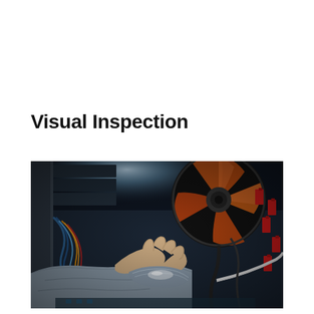Visual Inspection
[Figure (photo): A person's hands working inside an open desktop computer case, holding a component near the motherboard. An orange CPU cooling fan is visible in the upper right area. Red cable connectors and various colorful wires are visible throughout the case interior. The image has a dark, moody blue-tinted tone with glowing highlights.]